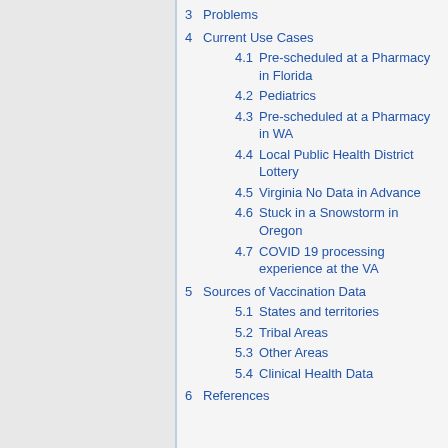3  Problems
4  Current Use Cases
4.1  Pre-scheduled at a Pharmacy in Florida
4.2  Pediatrics
4.3  Pre-scheduled at a Pharmacy in WA
4.4  Local Public Health District Lottery
4.5  Virginia No Data in Advance
4.6  Stuck in a Snowstorm in Oregon
4.7  COVID 19 processing experience at the VA
5  Sources of Vaccination Data
5.1  States and territories
5.2  Tribal Areas
5.3  Other Areas
5.4  Clinical Health Data
6  References